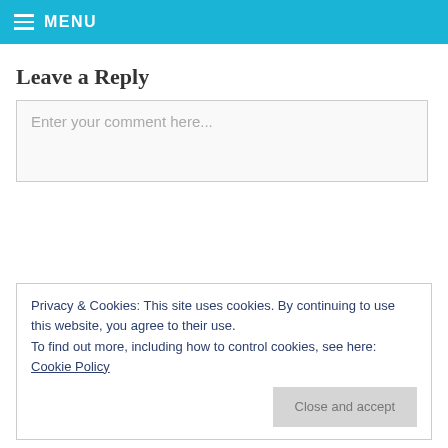MENU
Leave a Reply
Enter your comment here...
Privacy & Cookies: This site uses cookies. By continuing to use this website, you agree to their use.
To find out more, including how to control cookies, see here: Cookie Policy
Close and accept